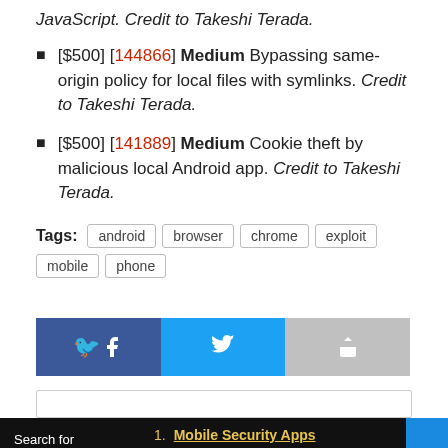JavaScript. Credit to Takeshi Terada.
[$500] [144866] Medium Bypassing same-origin policy for local files with symlinks. Credit to Takeshi Terada.
[$500] [141889] Medium Cookie theft by malicious local Android app. Credit to Takeshi Terada.
Tags: android  browser  chrome  exploit  mobile  phone
[Figure (infographic): Social share buttons: Facebook (blue), Twitter (light blue), Share/Other (grey)]
[Figure (screenshot): Bottom ad bar with black background, search for label, Mobile Security Apps and JSP Developer Jobs links in gold]
Search for
1. Mobile Security Apps
2. JSP Developer Jobs